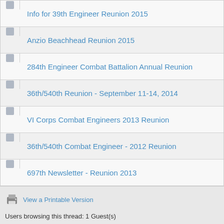Info for 39th Engineer Reunion 2015
Anzio Beachhead Reunion 2015
284th Engineer Combat Battalion Annual Reunion
36th/540th Reunion - September 11-14, 2014
VI Corps Combat Engineers 2013 Reunion
36th/540th Combat Engineer - 2012 Reunion
697th Newsletter - Reunion 2013
View a Printable Version
Users browsing this thread: 1 Guest(s)
Forum Team   Contact Us   VI Corps Combat Engineers of WWII   Return to Top
Powered By MyBB 1.8.22, © 2002-2022 MyBB Group.